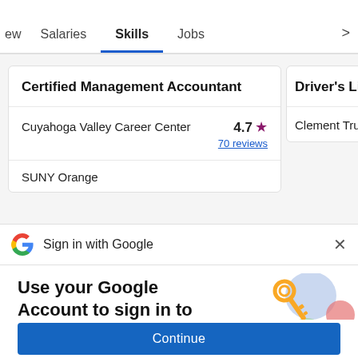ew   Salaries   Skills   Jobs   >
Certified Management Accountant
Cuyahoga Valley Career Center   4.7 ★   70 reviews
SUNY Orange
Driver's Lice
Clement Truck
Sign in with Google  ×
Use your Google Account to sign in to Indeed
No more passwords to remember. Signing in is fast, simple and secure.
[Figure (illustration): Google sign-in key illustration with colorful circles and a golden key]
Continue